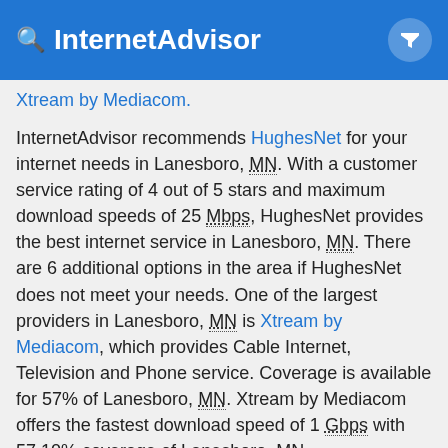InternetAdvisor
Xtream by Mediacom.
InternetAdvisor recommends HughesNet for your internet needs in Lanesboro, MN. With a customer service rating of 4 out of 5 stars and maximum download speeds of 25 Mbps, HughesNet provides the best internet service in Lanesboro, MN. There are 6 additional options in the area if HughesNet does not meet your needs. One of the largest providers in Lanesboro, MN is Xtream by Mediacom, which provides Cable Internet, Television and Phone service. Coverage is available for 57% of Lanesboro, MN. Xtream by Mediacom offers the fastest download speed of 1 Gbps with 57.10% coverage of Lanesboro, MN.
Cable internet offers outstanding speeds and reliability in Lanesboro, MN, since 1 internet provider offers service here. We recommend cable internet when available to your